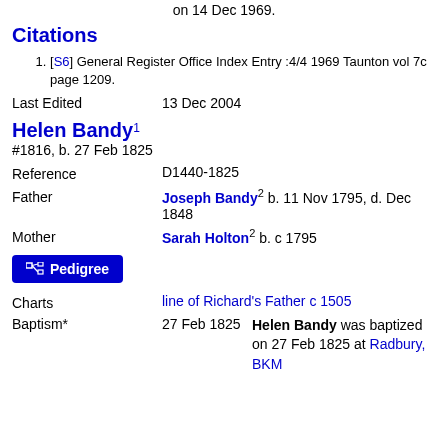on 14 Dec 1969.
Citations
[S6] General Register Office Index Entry :4/4 1969 Taunton vol 7c page 1209.
Last Edited    13 Dec 2004
Helen Bandy¹
#1816, b. 27 Feb 1825
Reference    D1440-1825
Father    Joseph Bandy² b. 11 Nov 1795, d. Dec 1848
Mother    Sarah Holton² b. c 1795
[Figure (other): Pedigree button]
Charts    line of Richard's Father c 1505
Baptism*    27 Feb 1825    Helen Bandy was baptized on 27 Feb 1825 at Radbury, BKM